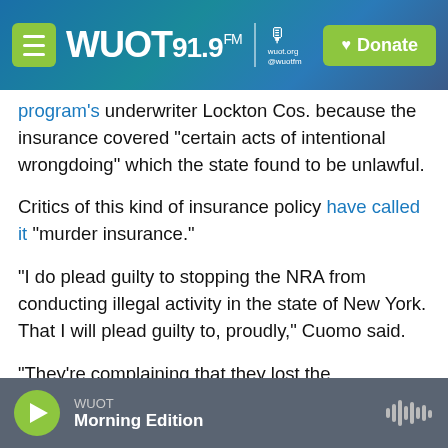WUOT 91.9 FM | Donate
program's underwriter Lockton Cos. because the insurance covered "certain acts of intentional wrongdoing" which the state found to be unlawful.
Critics of this kind of insurance policy have called it "murder insurance."
"I do plead guilty to stopping the NRA from conducting illegal activity in the state of New York. That I will plead guilty to, proudly," Cuomo said.
"They're complaining that they lost the commission from selling an illegal product," he added. "It's like a 21-year-old who is selling drugs complaining about
WUOT Morning Edition